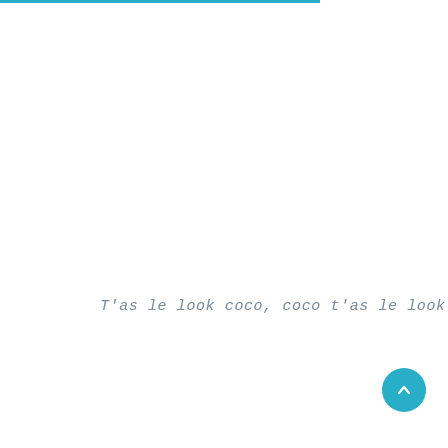T'as le look coco, coco t'as le look !
[Figure (other): Circular teal scroll-to-top button with upward chevron arrow]